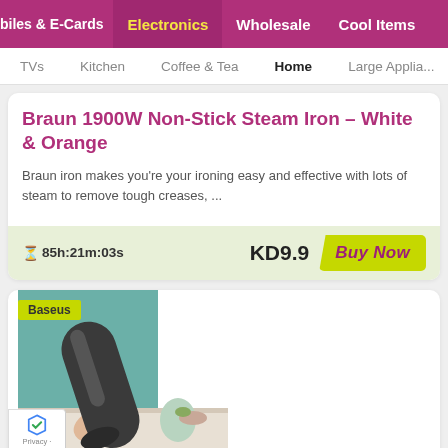biles & E-Cards | Electronics | Wholesale | Cool Items
TVs | Kitchen | Coffee & Tea | Home | Large Applia...
Braun 1900W Non-Stick Steam Iron - White & Orange
Braun iron makes you're your ironing easy and effective with lots of steam to remove tough creases, ...
⏱85h:21m:03s   KD9.9   Buy Now
[Figure (photo): Product photo of a Baseus handheld vacuum cleaner held by a person's hand over a table with food items in background]
Privacy -